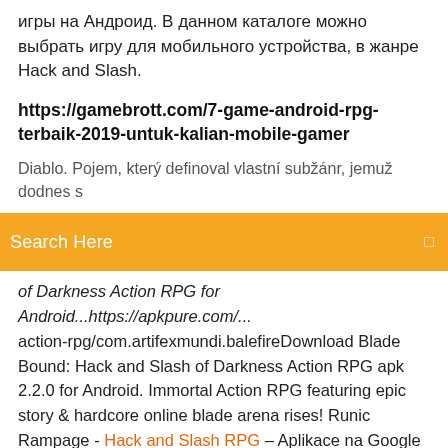игры на Андроид. В данном каталоге можно выбрать игру для мобильного устройства, в жанре Hack and Slash.
https://gamebrott.com/7-game-android-rpg-terbaik-2019-untuk-kalian-mobile-gamer
Diablo. Pojem, který definoval vlastní subžánr, jemuž dodnes s
Search Here
of Darkness Action RPG for Android...https://apkpure.com/... action-rpg/com.artifexmundi.balefireDownload Blade Bound: Hack and Slash of Darkness Action RPG apk 2.2.0 for Android. Immortal Action RPG featuring epic story & hardcore online blade arena rises! Runic Rampage - Hack and Slash RPG – Aplikace na Google Play Sharpen your axe and equip your hammer - Runic Rampage is the brutal action adventure every dwarf has been waiting for. Master fatal combos and unleash powerful spells to defeat hordes of ruthless foes in intense melee combat. hack'n'slash | Vše o hrách pro PC, PlayStation,